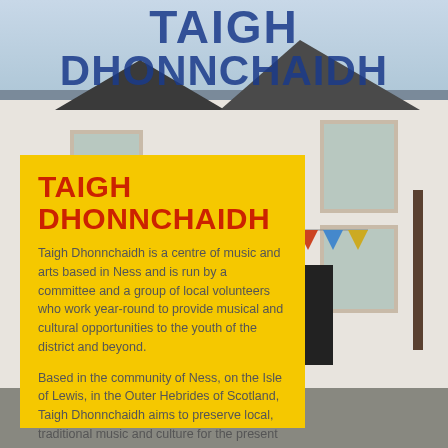TAIGH DHONNCHAIDH
[Figure (photo): Photograph of Taigh Dhonnchaidh building exterior, a white-rendered stone building with slate roof, windows, black door, and colourful bunting flags. Sky visible above.]
TAIGH DHONNCHAIDH
Taigh Dhonnchaidh is a centre of music and arts based in Ness and is run by a committee and a group of local volunteers who work year-round to provide musical and cultural opportunities to the youth of the district and beyond.
Based in the community of Ness, on the Isle of Lewis, in the Outer Hebrides of Scotland, Taigh Dhonnchaidh aims to preserve local, traditional music and culture for the present and future generations.
READ MORE ABOUT US »»